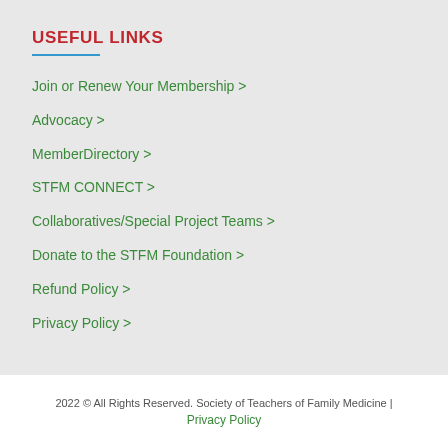USEFUL LINKS
Join or Renew Your Membership >
Advocacy >
MemberDirectory >
STFM CONNECT >
Collaboratives/Special Project Teams >
Donate to the STFM Foundation >
Refund Policy >
Privacy Policy >
2022 © All Rights Reserved. Society of Teachers of Family Medicine | Privacy Policy